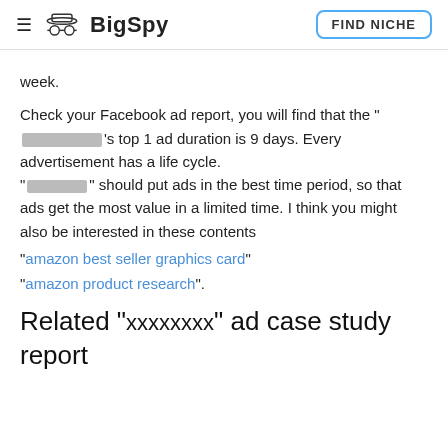BigSpy | FIND NICHE
week.
Check your Facebook ad report, you will find that the "[redacted]"'s top 1 ad duration is 9 days. Every advertisement has a life cycle. "[redacted]" should put ads in the best time period, so that ads get the most value in a limited time. I think you might also be interested in these contents "amazon best seller graphics card" "amazon product research".
Related "xxxxxxxx" ad case study report